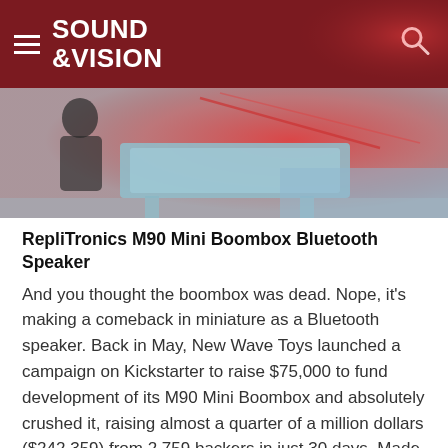SOUND &VISION
[Figure (photo): Hero image showing what appears to be a person near a light blue table or surface with a reddish blurred background.]
RepliTronics M90 Mini Boombox Bluetooth Speaker
And you thought the boombox was dead. Nope, it's making a comeback in miniature as a Bluetooth speaker. Back in May, New Wave Toys launched a campaign on Kickstarter to raise $75,000 to fund development of its M90 Mini Boombox and absolutely crushed it, raising almost a quarter of a million dollars ($242,359) from 2,759 backers in just 30 days. Made from a mix of aluminum, stainless steel, high-density rubber, and high-grade plastic, the M90 Mini looks is a dead-ringer for an Eighties-era boombox but it's only 9.75 inches wide and just over